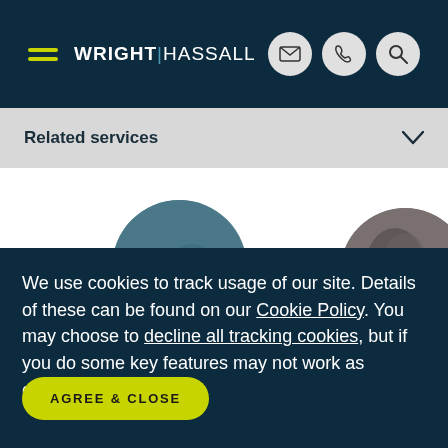WRIGHT|HASSALL
Related services
[Figure (photo): Circular cropped photo of hands holding something, with yellow/blue colors visible]
[Figure (photo): Circular cropped photo of a leather or textured surface in grey/brown tones]
We use cookies to track usage of our site. Details of these can be found on our Cookie Policy. You may choose to decline all tracking cookies, but if you do some key features may not work as expected.
AGREE & CLOSE